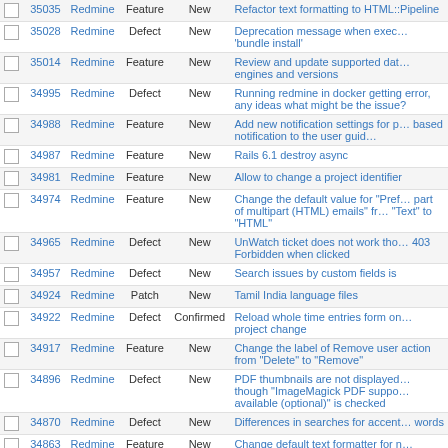|  | # | Project | Tracker | Status | Subject |
| --- | --- | --- | --- | --- | --- |
|  | 35035 | Redmine | Feature | New | Refactor text formatting to HTML::Pipeline |
|  | 35028 | Redmine | Defect | New | Deprecation message when executing 'bundle install' |
|  | 35014 | Redmine | Feature | New | Review and update supported database engines and versions |
|  | 34995 | Redmine | Defect | New | Running redmine in docker getting error, any ideas what might be the issue? |
|  | 34988 | Redmine | Feature | New | Add new notification settings for project-based notification to the user guide |
|  | 34987 | Redmine | Feature | New | Rails 6.1 destroy async |
|  | 34981 | Redmine | Feature | New | Allow to change a project identifier |
|  | 34974 | Redmine | Feature | New | Change the default value for "Preferred part of multipart (HTML) emails" from "Text" to "HTML" |
|  | 34965 | Redmine | Defect | New | UnWatch ticket does not work throws 403 Forbidden when clicked |
|  | 34957 | Redmine | Defect | New | Search issues by custom fields is |
|  | 34924 | Redmine | Patch | New | Tamil India language files |
|  | 34922 | Redmine | Defect | Confirmed | Reload whole time entries form on project change |
|  | 34917 | Redmine | Feature | New | Change the label of Remove user action from "Delete" to "Remove" |
|  | 34896 | Redmine | Defect | New | PDF thumbnails are not displayed even though "ImageMagick PDF support available (optional)" is checked |
|  | 34870 | Redmine | Defect | New | Differences in searches for accented words |
|  | 34863 | Redmine | Feature | New | Change default text formatter for new installations from textile to |